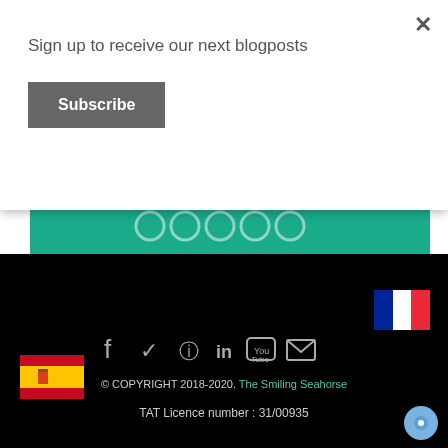Sign up to receive our next blogposts
Subscribe
[Figure (illustration): Teal banner with circular rating bubbles (tripadvisor style)]
[Figure (illustration): French flag (blue, white, red vertical stripes)]
[Figure (illustration): Spanish flag (red, yellow, red horizontal stripes with coat of arms)]
[Figure (infographic): Social media icons: Facebook, Twitter, Instagram, LinkedIn, YouTube, Email]
© COPYRIGHT 2018-2020. The Smiling Seahorse
TAT Licence number : 31/00935